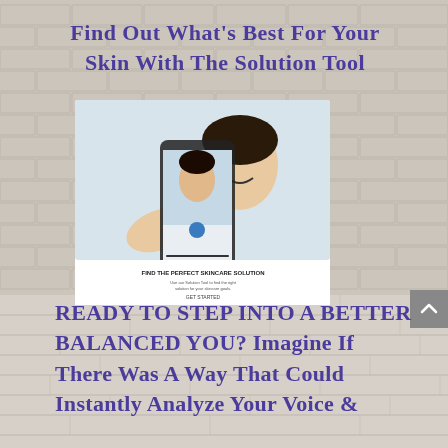Find Out What’s Best For Your Skin With The Solution Tool
[Figure (photo): A woman smiling seen on a smartphone screen held by hands, with text 'FIND THE PERFECT SKINCARE SOLUTION' and a GET STARTED button at the bottom of the phone display]
READY TO STEP INTO A BETTER BALANCED YOU? Imagine If There Was A Way That Could Instantly Analyze Your Voice &